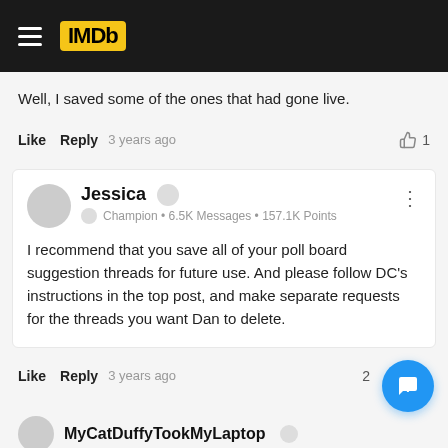IMDb
Well, I saved some of the ones that had gone live.
Like  Reply  3 years ago  👍 1
Jessica
Champion • 6.5K Messages • 157.1K Points
I recommend that you save all of your poll board suggestion threads for future use. And please follow DC's instructions in the top post, and make separate requests for the threads you want Dan to delete.
Like  Reply  3 years ago  2
MyCatDuffyTookMyLaptop